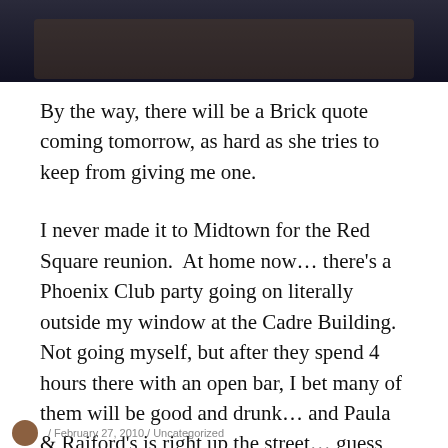[Figure (photo): Dark photograph showing hands or objects against a dark background, partially cropped at top of page]
By the way, there will be a Brick quote coming tomorrow, as hard as she tries to keep from giving me one.
I never made it to Midtown for the Red Square reunion.  At home now… there's a Phoenix Club party going on literally outside my window at the Cadre Building.  Not going myself, but after they spend 4 hours there with an open bar, I bet many of them will be good and drunk… and Paula & Raiford's is right up the street… guess I've got my next stop figured out.
February 27, 2010 / Uncategorized